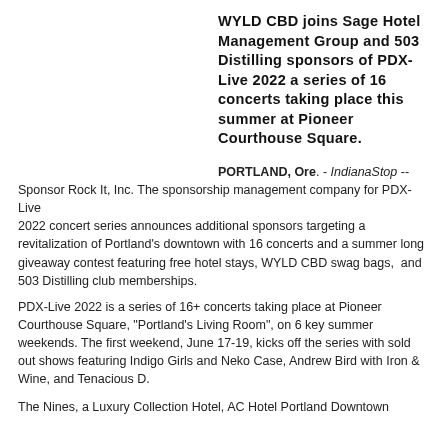WYLD CBD joins Sage Hotel Management Group and 503 Distilling sponsors of PDX-Live 2022 a series of 16 concerts taking place this summer at Pioneer Courthouse Square.
PORTLAND, Ore. - IndianaStop -- Sponsor Rock It, Inc. The sponsorship management company for PDX-Live 2022 concert series announces additional sponsors targeting a revitalization of Portland's downtown with 16 concerts and a summer long giveaway contest featuring free hotel stays, WYLD CBD swag bags,  and 503 Distilling club memberships.
PDX-Live 2022 is a series of 16+ concerts taking place at Pioneer Courthouse Square, "Portland's Living Room", on 6 key summer weekends. The first weekend, June 17-19, kicks off the series with sold out shows featuring Indigo Girls and Neko Case, Andrew Bird with Iron & Wine, and Tenacious D.
The Nines, a Luxury Collection Hotel, AC Hotel Portland Downtown